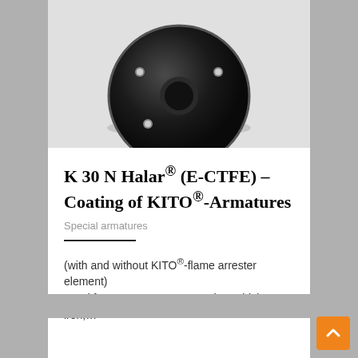[Figure (photo): Bottom view of a black cylindrical valve or armature component with mounting holes, photographed against a light background]
K 30 N Halar® (E-CTFE) – Coating of KITO®-Armatures
Special armatures
(with and without KITO®-flame arrester element) Used for gases or vapors, against which cast iron,…